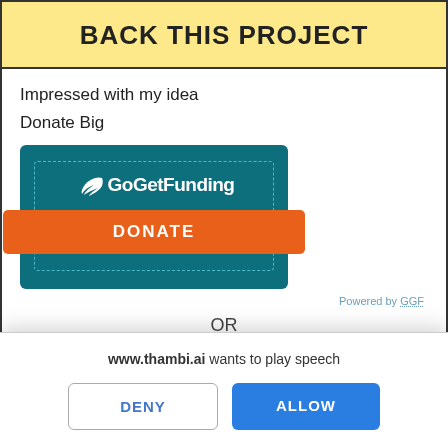BACK THIS PROJECT
Impressed with my idea
Donate Big
[Figure (screenshot): GoGetFunding donation widget showing a teal box with dashed border containing the GoGetFunding logo (with wing icon) and an orange DONATE button.]
Powered by GGF
OR
[Figure (screenshot): Partial green/teal button partially visible at the bottom of the main content area]
www.thambi.ai wants to play speech
DENY
ALLOW